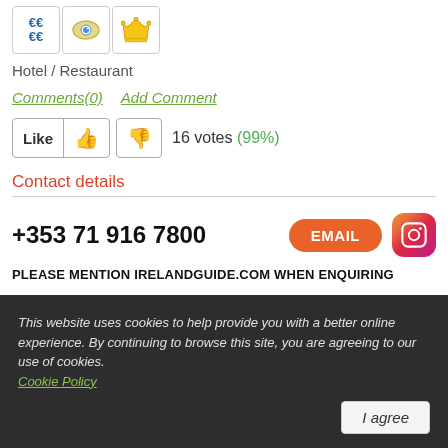[Figure (illustration): Three icon boxes: euro symbol (€€/€€), eye icon, and crown icon]
Hotel / Restaurant
Comments(0)   Add Comment
Like  👍  👎  16 votes (99%)
Contact details
+353 71 916 7800
PLEASE MENTION IRELANDGUIDE.COM WHEN ENQUIRING
Address
This website uses cookies to help provide you with a better online experience. By continuing to browse this site, you are agreeing to our use of cookies. Cookie Policy